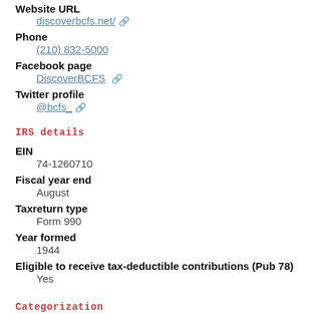Website URL
discoverbcfs.net/
Phone
(210) 832-5000
Facebook page
DiscoverBCFS
Twitter profile
@bcfs_
IRS details
EIN
74-1260710
Fiscal year end
August
Taxreturn type
Form 990
Year formed
1944
Eligible to receive tax-deductible contributions (Pub 78)
Yes
Categorization